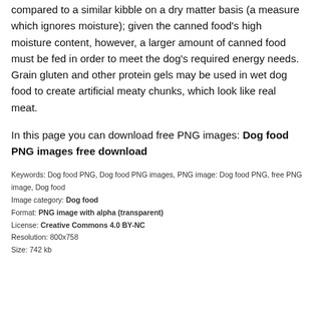compared to a similar kibble on a dry matter basis (a measure which ignores moisture); given the canned food's high moisture content, however, a larger amount of canned food must be fed in order to meet the dog's required energy needs. Grain gluten and other protein gels may be used in wet dog food to create artificial meaty chunks, which look like real meat.
In this page you can download free PNG images: Dog food PNG images free download
Keywords: Dog food PNG, Dog food PNG images, PNG image: Dog food PNG, free PNG image, Dog food
Image category: Dog food
Format: PNG image with alpha (transparent)
License: Creative Commons 4.0 BY-NC
Resolution: 800x758
Size: 742 kb